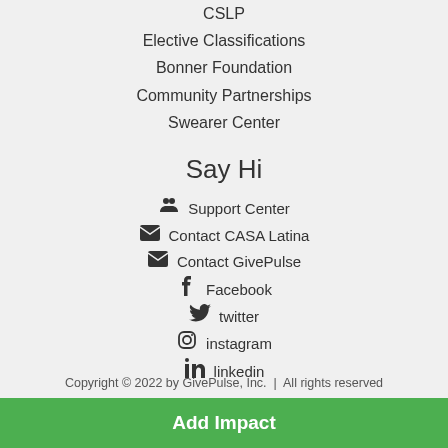CSLP
Elective Classifications
Bonner Foundation
Community Partnerships
Swearer Center
Say Hi
Support Center
Contact CASA Latina
Contact GivePulse
Facebook
twitter
instagram
linkedin
Copyright © 2022 by GivePulse, Inc.  |  All rights reserved
Add Impact